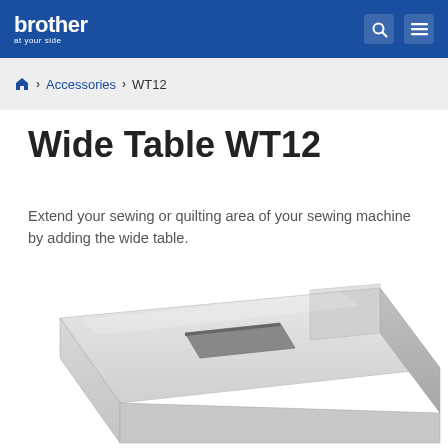brother at your side
Home > Accessories > WT12
Wide Table WT12
Extend your sewing or quilting area of your sewing machine by adding the wide table.
[Figure (photo): Product photo of the Brother Wide Table WT12, a rectangular white/light gray plastic wide table attachment for sewing machines, viewed from a slight angle showing its flat top surface and slot opening.]